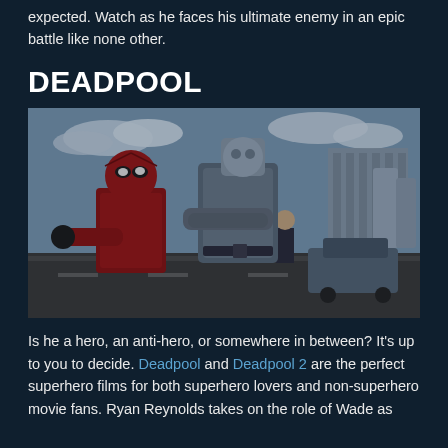expected. Watch as he faces his ultimate enemy in an epic battle like none other.
DEADPOOL
[Figure (photo): Scene from Deadpool movie showing Deadpool in red suit with Colossus in metal armor, standing on a road with cars and industrial buildings in the background, and a third smaller figure visible behind them.]
Is he a hero, an anti-hero, or somewhere in between? It's up to you to decide. Deadpool and Deadpool 2 are the perfect superhero films for both superhero lovers and non-superhero movie fans. Ryan Reynolds takes on the role of Wade as